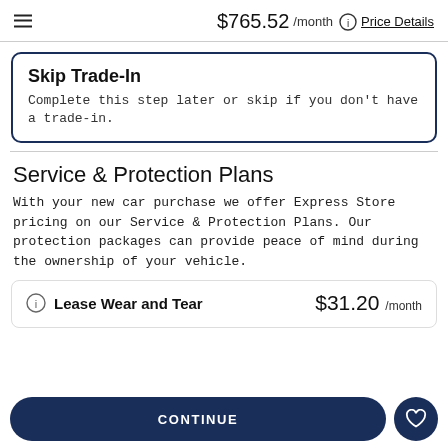$765.52 /month Price Details
Skip Trade-In
Complete this step later or skip if you don't have a trade-in.
Service & Protection Plans
With your new car purchase we offer Express Store pricing on our Service & Protection Plans. Our protection packages can provide peace of mind during the ownership of your vehicle.
Lease Wear and Tear   $31.20 /month
CONTINUE